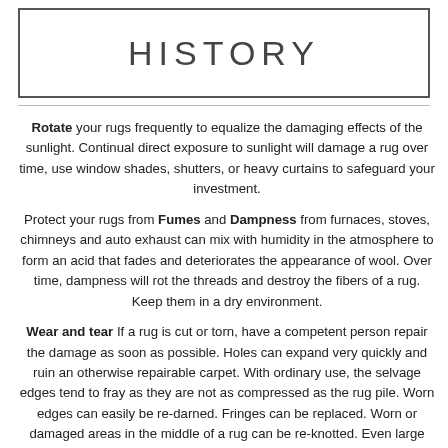HISTORY
Rotate your rugs frequently to equalize the damaging effects of the sunlight. Continual direct exposure to sunlight will damage a rug over time, use window shades, shutters, or heavy curtains to safeguard your investment.
Protect your rugs from Fumes and Dampness from furnaces, stoves, chimneys and auto exhaust can mix with humidity in the atmosphere to form an acid that fades and deteriorates the appearance of wool. Over time, dampness will rot the threads and destroy the fibers of a rug. Keep them in a dry environment.
Wear and tear If a rug is cut or torn, have a competent person repair the damage as soon as possible. Holes can expand very quickly and ruin an otherwise repairable carpet. With ordinary use, the selvage edges tend to fray as they are not as compressed as the rug pile. Worn edges can easily be re-darned. Fringes can be replaced. Worn or damaged areas in the middle of a rug can be re-knotted. Even large holes can be restored.